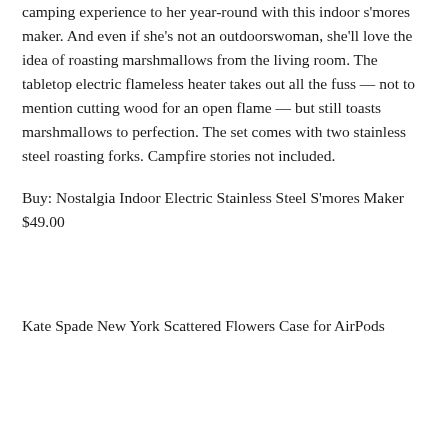camping experience to her year-round with this indoor s'mores maker. And even if she's not an outdoorswoman, she'll love the idea of roasting marshmallows from the living room. The tabletop electric flameless heater takes out all the fuss — not to mention cutting wood for an open flame — but still toasts marshmallows to perfection. The set comes with two stainless steel roasting forks. Campfire stories not included.
Buy: Nostalgia Indoor Electric Stainless Steel S'mores Maker $49.00
Kate Spade New York Scattered Flowers Case for AirPods